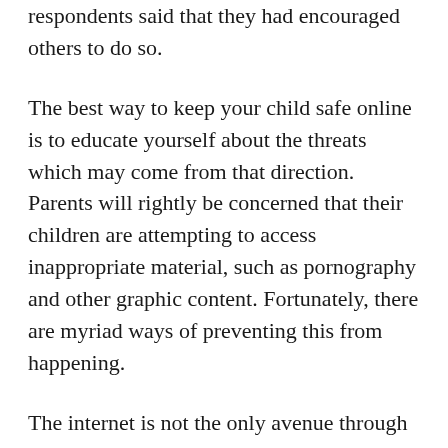respondents said that they had encouraged others to do so.
The best way to keep your child safe online is to educate yourself about the threats which may come from that direction. Parents will rightly be concerned that their children are attempting to access inappropriate material, such as pornography and other graphic content. Fortunately, there are myriad ways of preventing this from happening.
The internet is not the only avenue through which your children might access such material. Fortunately, the settings on the modern television allow you to do more than just combat poor TV